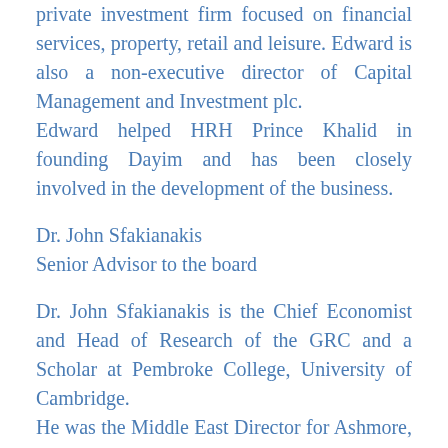private investment firm focused on financial services, property, retail and leisure. Edward is also a non-executive director of Capital Management and Investment plc. Edward helped HRH Prince Khalid in founding Dayim and has been closely involved in the development of the business.
Dr. John Sfakianakis
Senior Advisor to the board
Dr. John Sfakianakis is the Chief Economist and Head of Research of the GRC and a Scholar at Pembroke College, University of Cambridge.
He was the Middle East Director for Ashmore, a FTSE 100 asset manager. At